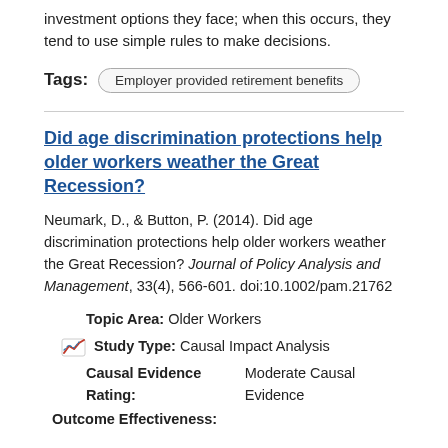investment options they face; when this occurs, they tend to use simple rules to make decisions.
Tags: Employer provided retirement benefits
Did age discrimination protections help older workers weather the Great Recession?
Neumark, D., & Button, P. (2014). Did age discrimination protections help older workers weather the Great Recession? Journal of Policy Analysis and Management, 33(4), 566-601. doi:10.1002/pam.21762
Topic Area: Older Workers
Study Type: Causal Impact Analysis
Causal Evidence Rating: Moderate Causal Evidence
Outcome Effectiveness: